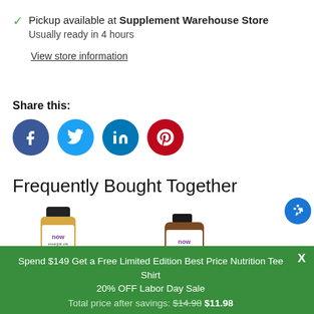Pickup available at Supplement Warehouse Store
Usually ready in 4 hours
View store information
Share this:
[Figure (infographic): Social media share buttons: Facebook (blue circle with f), Twitter (blue circle with bird), LinkedIn (blue circle with in), Pinterest (red circle with P)]
Frequently Bought Together
[Figure (photo): Two NOW Essential Oils product bottles - Orange and Eucalyptus with a checkbox/plus between them]
orange
Eucalyptus
Spend $149 Get a Free Limited Edition Best Price Nutrition Tee Shirt
20% OFF Labor Day Sale
Total price after savings: $14.98  $11.98